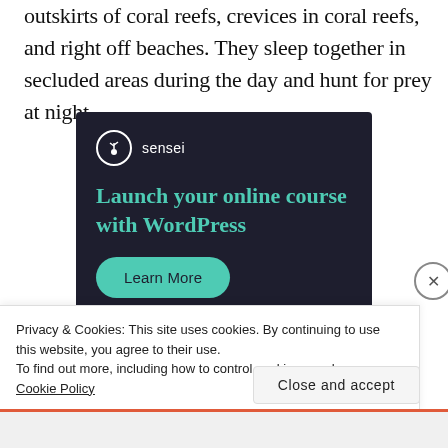outskirts of coral reefs, crevices in coral reefs, and right off beaches. They sleep together in secluded areas during the day and hunt for prey at night.
[Figure (advertisement): Sensei brand advertisement with dark navy background. Shows the Sensei logo (tree icon in white circle) and brand name, headline text 'Launch your online course with WordPress' in teal/green color, and a rounded 'Learn More' button in teal.]
Privacy & Cookies: This site uses cookies. By continuing to use this website, you agree to their use.
To find out more, including how to control cookies, see here: Cookie Policy
Close and accept